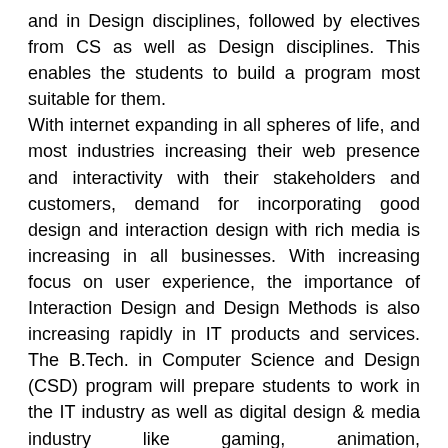and in Design disciplines, followed by electives from CS as well as Design disciplines. This enables the students to build a program most suitable for them. With internet expanding in all spheres of life, and most industries increasing their web presence and interactivity with their stakeholders and customers, demand for incorporating good design and interaction design with rich media is increasing in all businesses. With increasing focus on user experience, the importance of Interaction Design and Design Methods is also increasing rapidly in IT products and services. The B.Tech. in Computer Science and Design (CSD) program will prepare students to work in the IT industry as well as digital design & media industry like gaming, animation, virtual/augmented reality, user interfaces etc., as well as allow students to take up higher studies in CS or in Design.
The program aims to develop capabilities in CS as well as Design and Digital Media. At the end of the program, a